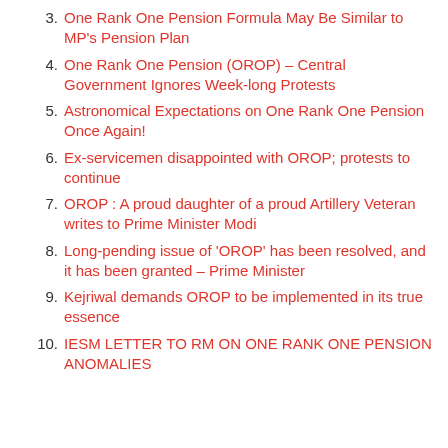3. One Rank One Pension Formula May Be Similar to MP's Pension Plan
4. One Rank One Pension (OROP) – Central Government Ignores Week-long Protests
5. Astronomical Expectations on One Rank One Pension Once Again!
6. Ex-servicemen disappointed with OROP; protests to continue
7. OROP : A proud daughter of a proud Artillery Veteran writes to Prime Minister Modi
8. Long-pending issue of 'OROP' has been resolved, and it has been granted – Prime Minister
9. Kejriwal demands OROP to be implemented in its true essence
10. IESM LETTER TO RM ON ONE RANK ONE PENSION ANOMALIES